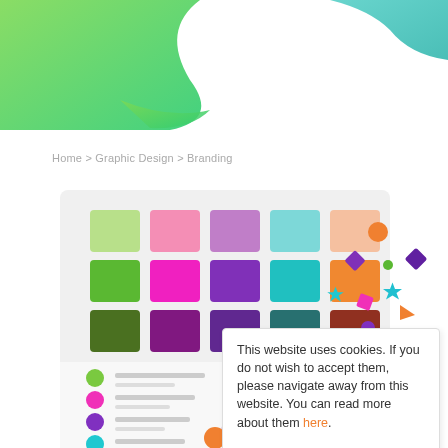[Figure (illustration): Decorative header with green and teal gradient swooping shapes in top-left and top-right corners]
Home > Graphic Design > Branding
[Figure (illustration): Branding design illustration showing a color palette grid with pink, purple, teal, orange swatches in three rows, a document with bullet points and font icon, a green megaphone with purple handle, and scattered confetti shapes (stars, circles, diamonds) in various colors]
This website uses cookies. If you do not wish to accept them, please navigate away from this website. You can read more about them here.
ok